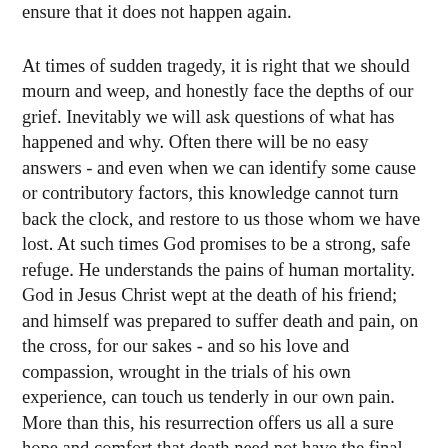ensure that it does not happen again.
At times of sudden tragedy, it is right that we should mourn and weep, and honestly face the depths of our grief. Inevitably we will ask questions of what has happened and why. Often there will be no easy answers - and even when we can identify some cause or contributory factors, this knowledge cannot turn back the clock, and restore to us those whom we have lost. At such times God promises to be a strong, safe refuge. He understands the pains of human mortality. God in Jesus Christ wept at the death of his friend; and himself was prepared to suffer death and pain, on the cross, for our sakes - and so his love and compassion, wrought in the trials of his own experience, can touch us tenderly in our own pain. More than this, his resurrection offers us all a sure hope and comfort that death need not have the final word, as he encourages us to put our hand in his and find in him the reassurance that we need in times of fear and sorrow.
This then, is my prayer today, for all who grieve for the loss of life in the Air France plane crash. And it is my prayer for everyone who faces tragedy and loss, and the trauma of